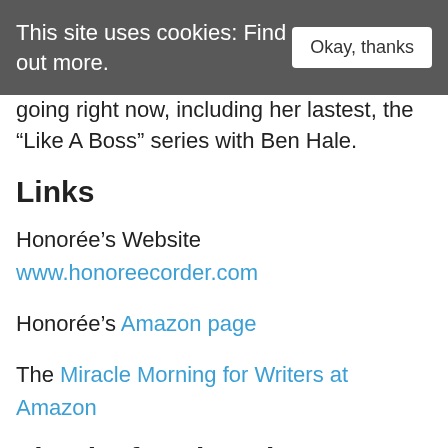This site uses cookies: Find out more.   Okay, thanks
going right now, including her lastest, the “Like A Boss” series with Ben Hale.
Links
Honorée’s Website
www.honoreecorder.com
Honorée’s Amazon page
The Miracle Morning for Writers at Amazon
Thanks for Listening!
Thanks so much for joining us again this